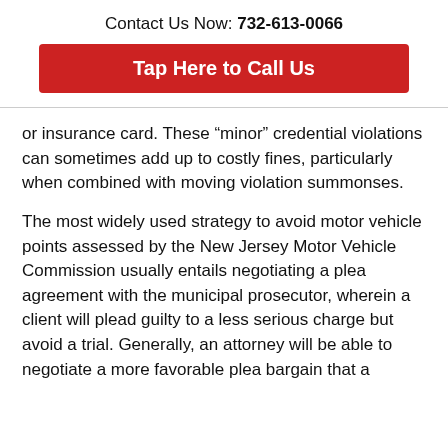Contact Us Now: 732-613-0066
[Figure (other): Red call-to-action button: Tap Here to Call Us]
or insurance card. These “minor” credential violations can sometimes add up to costly fines, particularly when combined with moving violation summonses.
The most widely used strategy to avoid motor vehicle points assessed by the New Jersey Motor Vehicle Commission usually entails negotiating a plea agreement with the municipal prosecutor, wherein a client will plead guilty to a less serious charge but avoid a trial. Generally, an attorney will be able to negotiate a more favorable plea bargain that a